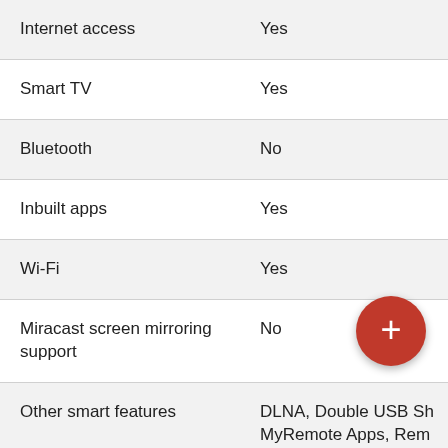| Feature | Value |
| --- | --- |
| Internet access | Yes |
| Smart TV | Yes |
| Bluetooth | No |
| Inbuilt apps | Yes |
| Wi-Fi | Yes |
| Miracast screen mirroring support | No |
| Other smart features | DLNA, Double USB Sh... MyRemote Apps, Rem... Sharing, Swipe & Share |